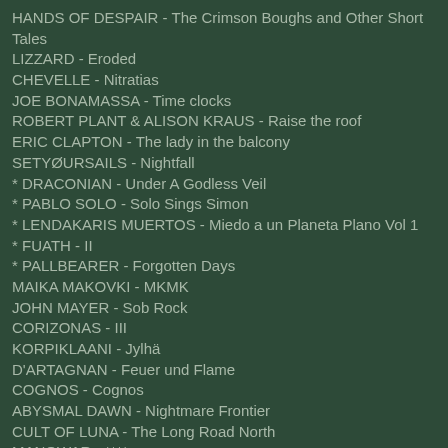HANDS OF DESPAIR - The Crimson Boughs and Other Short Tales
LIZZARD - Eroded
CHEVELLE - Nitratias
JOE BONAMASSA - Time clocks
ROBERT PLANT & ALISON KRAUS - Raise the roof
ERIC CLAPTON - The lady in the balcony
SETYØURSAILS - Nightfall
* DRACONIAN - Under A Godless Veil
* PABLO SOLO - Solo Sings Simon
* LENDAKARIS MUERTOS - Miedo a un Planeta Plano Vol 1
* FUATH - II
* PALLBEARER - Forgotten Days
MAIKA MAKOVKI - MKMK
JOHN MAYER - Sob Rock
CORIZONAS - III
KORPIKLAANI - Jylhä
D'ARTAGNAN - Feuer und Flame
COGNOS - Cognos
ABYSMAL DAWN - Nightmare Frontier
CULT OF LUNA - The Long Road North
MANOWAR - ****
BELORE - Artifacts
PHARAOH - The Powers That Be
JOHN CARPENTER - Lost Themes III
JENKEN - ****